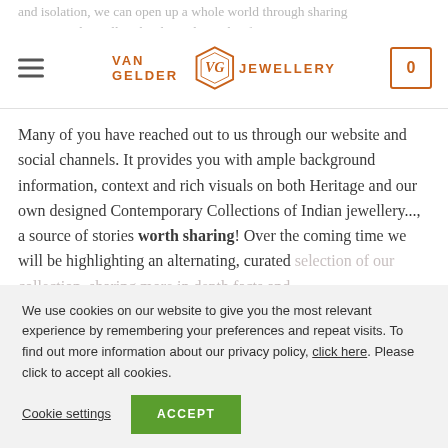VAN GELDER JEWELLERY
and isolation, we can open up a whole world through sharing stories. And jewellery has been doing that for centuries before us....
Many of you have reached out to us through our website and social channels. It provides you with ample background information, context and rich visuals on both Heritage and our own designed Contemporary Collections of Indian jewellery..., a source of stories worth sharing! Over the coming time we will be highlighting an alternating, curated selection of our collection, sharing more in depth facts and
We use cookies on our website to give you the most relevant experience by remembering your preferences and repeat visits. To find out more information about our privacy policy, click here. Please click to accept all cookies.
Cookie settings  ACCEPT